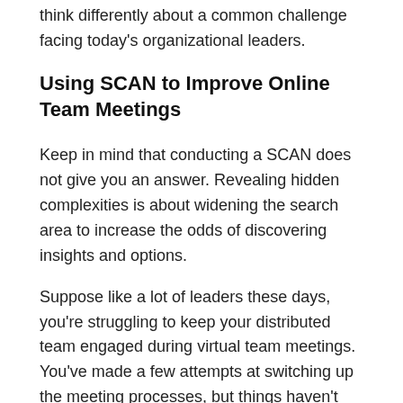Let's have a look at how the SCAN tool might help us think differently about a common challenge facing today's organizational leaders.
Using SCAN to Improve Online Team Meetings
Keep in mind that conducting a SCAN does not give you an answer. Revealing hidden complexities is about widening the search area to increase the odds of discovering insights and options.
Suppose like a lot of leaders these days, you're struggling to keep your distributed team engaged during virtual team meetings. You've made a few attempts at switching up the meeting processes, but things haven't improved. You can tell that people are